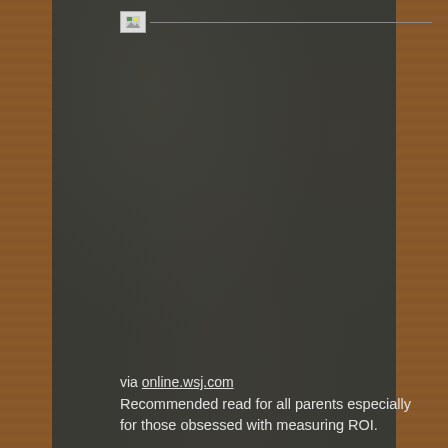[Figure (other): Broken/missing image placeholder with small image icon and horizontal line, displayed on dark chalkboard background]
via online.wsj.com
Recommended read for all parents especially for those obsessed with measuring ROI.